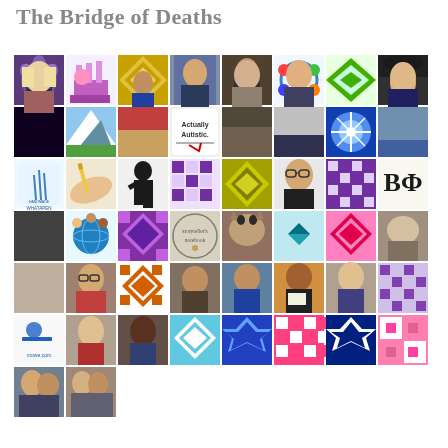The Bridge of Deaths
[Figure (photo): A grid of approximately 58 avatar/profile images and decorative quilt-pattern squares, arranged in 7-8 rows of 8 columns. Images include photos of people, animals, artwork, logos, and colorful geometric quilt-block patterns in various colors including gold, purple, green, blue, pink, teal, and orange.]